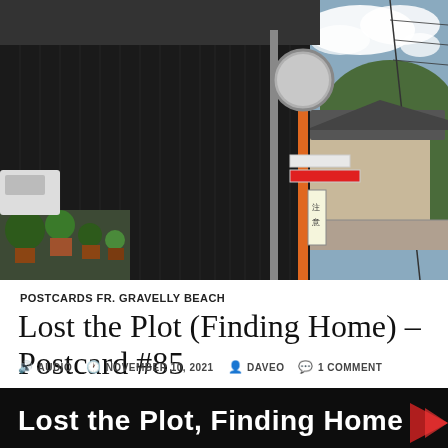[Figure (photo): Photograph of a Japanese rural street scene showing a large dark-painted wooden building on the left, with potted plants near its base, and a traffic mirror on an orange pole with Japanese street signs in the center-right. Houses and a hill with trees visible in the background under a cloudy sky.]
POSTCARDS FR. GRAVELLY BEACH
Lost the Plot (Finding Home) – Postcard #85
AUDIO   NOVEMBER 10, 2021   DAVEO   1 COMMENT
[Figure (photo): Banner image with dark background showing large bold white text reading 'Lost the Plot, Finding Home' with a partially visible graphic element on the right.]